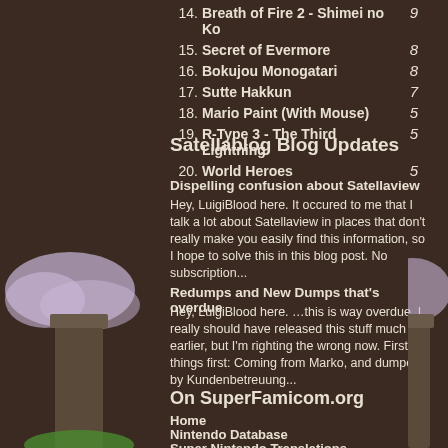14. Breath of Fire 2 - Shimei no Ko  9
15. Secret of Evermore  8
16. Bokujou Monogatari  8
17. Sutte Hakkun  7
18. Mario Paint (With Mouse)  5
19. R-Type 3 - The Third Lightning  5
20. World Heroes  5
Satellablog Blog Updates
Dispelling confusion about Satellaview
Hey, LuigiBlood here. It occured to me that I talk a lot about Satellaview in places that don't really make you easily find this information, so I hope to solve this in this blog post. No subscription...
Redumps and New Dumps that's overdue
Hey, LuigiBlood here. …this is way overdue, I really should have released this stuff much earlier, but I'm righting the wrong now. First things first: Coming from Marko, and dumped by Kundenbetreuung...
On SuperFamicom.org
Home
Nintendo Database
Super Nintendo Translations
Satellaview Blog